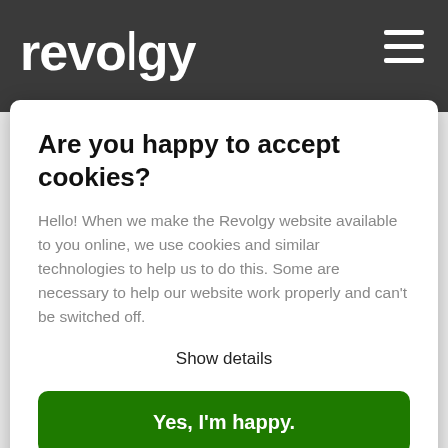revolgy
Are you happy to accept cookies?
Hello! When we make the Revolgy website available to you online, we use cookies and similar technologies to help us to do this. Some are necessary to help our website work properly and can't be switched off.
Show details
Yes, I'm happy.
appears when replication does not occur for a certain period of time.
Potential cause: